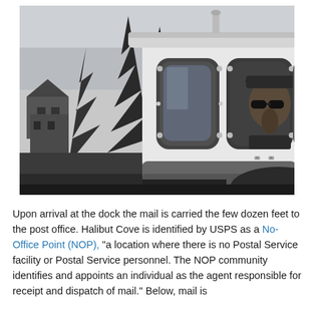[Figure (photo): Black and white photograph of a person wearing sunglasses and a cap, visible through porthole-style windows of a boat cabin. Trees, a house, and mountains are visible in the background to the left.]
Upon arrival at the dock the mail is carried the few dozen feet to the post office. Halibut Cove is identified by USPS as a No-Office Point (NOP), "a location where there is no Postal Service facility or Postal Service personnel. The NOP community identifies and appoints an individual as the agent responsible for receipt and dispatch of mail." Below, mail is